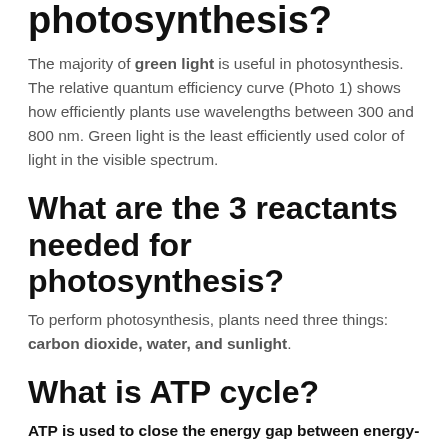photosynthesis?
The majority of green light is useful in photosynthesis. The relative quantum efficiency curve (Photo 1) shows how efficiently plants use wavelengths between 300 and 800 nm. Green light is the least efficiently used color of light in the visible spectrum.
What are the 3 reactants needed for photosynthesis?
To perform photosynthesis, plants need three things: carbon dioxide, water, and sunlight.
What is ATP cycle?
ATP is used to close the energy gap between energy-releasing reactions (food breakdown) and energy-